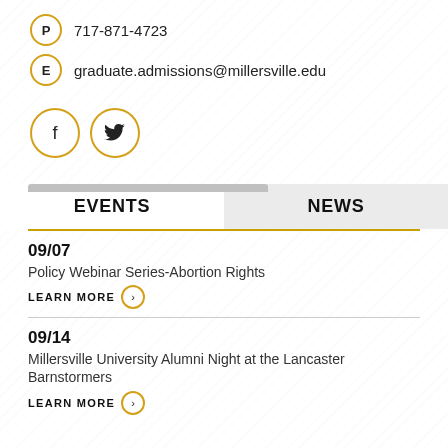P  717-871-4723
E  graduate.admissions@millersville.edu
[Figure (infographic): Facebook and Twitter social media icons as gold-outlined circles with f and bird symbols]
EVENTS
NEWS
09/07
Policy Webinar Series-Abortion Rights
LEARN MORE
09/14
Millersville University Alumni Night at the Lancaster Barnstormers
LEARN MORE